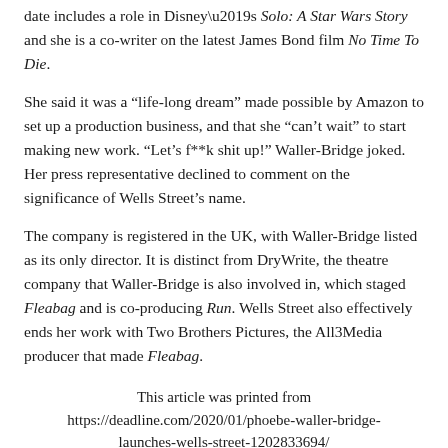date includes a role in Disney's Solo: A Star Wars Story and she is a co-writer on the latest James Bond film No Time To Die.
She said it was a “life-long dream” made possible by Amazon to set up a production business, and that she “can’t wait” to start making new work. “Let’s f**k shit up!” Waller-Bridge joked. Her press representative declined to comment on the significance of Wells Street’s name.
The company is registered in the UK, with Waller-Bridge listed as its only director. It is distinct from DryWrite, the theatre company that Waller-Bridge is also involved in, which staged Fleabag and is co-producing Run. Wells Street also effectively ends her work with Two Brothers Pictures, the All3Media producer that made Fleabag.
This article was printed from https://deadline.com/2020/01/phoebe-waller-bridge-launches-wells-street-1202833694/